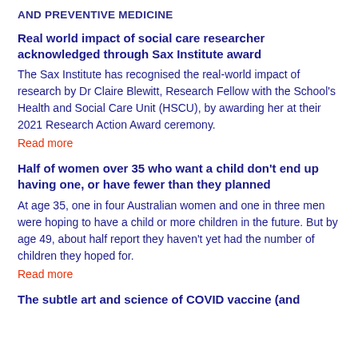AND PREVENTIVE MEDICINE
Real world impact of social care researcher acknowledged through Sax Institute award
The Sax Institute has recognised the real-world impact of research by Dr Claire Blewitt, Research Fellow with the School's Health and Social Care Unit (HSCU), by awarding her at their 2021 Research Action Award ceremony.
Read more
Half of women over 35 who want a child don't end up having one, or have fewer than they planned
At age 35, one in four Australian women and one in three men were hoping to have a child or more children in the future. But by age 49, about half report they haven't yet had the number of children they hoped for.
Read more
The subtle art and science of COVID vaccine (and